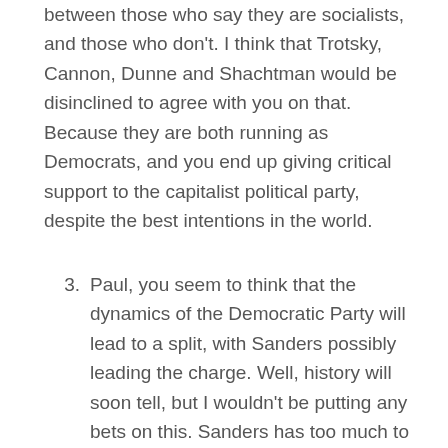between those who say they are socialists, and those who don't. I think that Trotsky, Cannon, Dunne and Shachtman would be disinclined to agree with you on that. Because they are both running as Democrats, and you end up giving critical support to the capitalist political party, despite the best intentions in the world.
3. Paul, you seem to think that the dynamics of the Democratic Party will lead to a split, with Sanders possibly leading the charge. Well, history will soon tell, but I wouldn't be putting any bets on this. Sanders has too much to lose by breaking his ties with the Democrats, as he